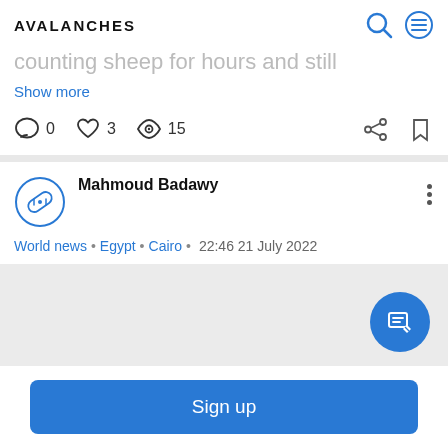AVALANCHES
counting sheep for hours and still
Show more
0  3  15
Mahmoud Badawy
World news • Egypt • Cairo • 22:46 21 July 2022
Sign up